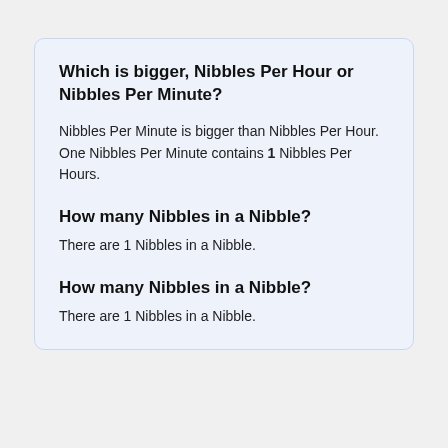Which is bigger, Nibbles Per Hour or Nibbles Per Minute?
Nibbles Per Minute is bigger than Nibbles Per Hour. One Nibbles Per Minute contains 1 Nibbles Per Hours.
How many Nibbles in a Nibble?
There are 1 Nibbles in a Nibble.
How many Nibbles in a Nibble?
There are 1 Nibbles in a Nibble.